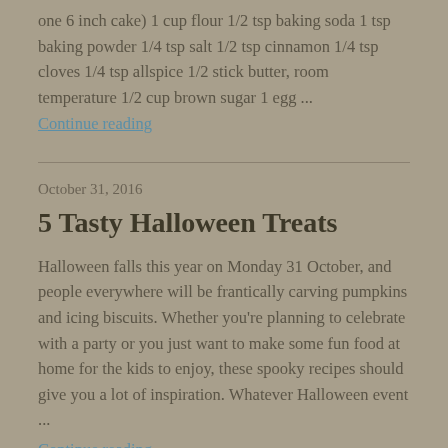one 6 inch cake) 1 cup flour 1/2 tsp baking soda 1 tsp baking powder 1/4 tsp salt 1/2 tsp cinnamon 1/4 tsp cloves 1/4 tsp allspice 1/2 stick butter, room temperature 1/2 cup brown sugar 1 egg ...
Continue reading
October 31, 2016
5 Tasty Halloween Treats
Halloween falls this year on Monday 31 October, and people everywhere will be frantically carving pumpkins and icing biscuits. Whether you're planning to celebrate with a party or you just want to make some fun food at home for the kids to enjoy, these spooky recipes should give you a lot of inspiration. Whatever Halloween event ...
Continue reading